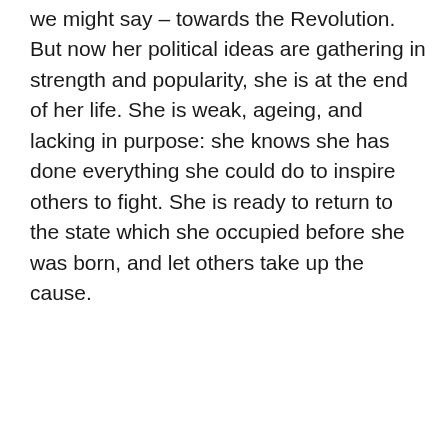we might say – towards the Revolution. But now her political ideas are gathering in strength and popularity, she is at the end of her life. She is weak, ageing, and lacking in purpose: she knows she has done everything she could do to inspire others to fight. She is ready to return to the state which she occupied before she was born, and let others take up the cause.